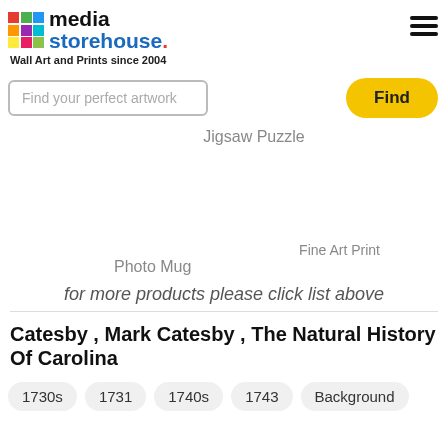media storehouse. Wall Art and Prints since 2004
Find your perfect artwork
Find
Jigsaw Puzzle
Fine Art Print
Photo Mug
for more products please click list above
Catesby , Mark Catesby , The Natural History Of Carolina
1730s
1731
1740s
1743
Background